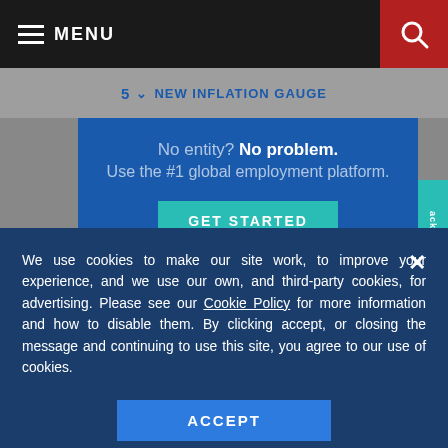MENU
5 NEW INFLATION GAUGE
[Figure (illustration): Advertisement banner with blue background: 'No entity? No problem. Use the #1 global employment platform.' with a teal GET STARTED button and a row of profile photo thumbnails below.]
We use cookies to make our site work, to improve your experience, and we use our own, and third-party cookies, for advertising. Please see our Cookie Policy for more information and how to disable them. By clicking accept, or closing the message and continuing to use this site, you agree to our use of cookies.
ACCEPT